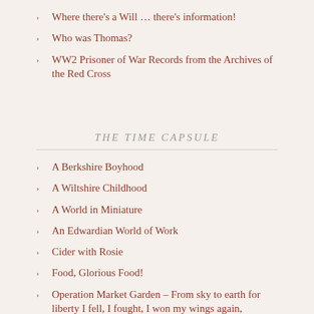Where there's a Will … there's information!
Who was Thomas?
WW2 Prisoner of War Records from the Archives of the Red Cross
THE TIME CAPSULE
A Berkshire Boyhood
A Wiltshire Childhood
A World in Miniature
An Edwardian World of Work
Cider with Rosie
Food, Glorious Food!
Operation Market Garden – From sky to earth for liberty I fell, I fought, I won my wings again, farewell
The "Dunkirk Warriors" of 54 Squadron – Battle of Britain –